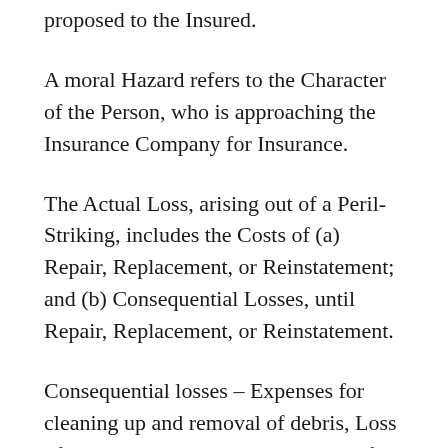proposed to the Insured.
A moral Hazard refers to the Character of the Person, who is approaching the Insurance Company for Insurance.
The Actual Loss, arising out of a Peril-Striking, includes the Costs of (a) Repair, Replacement, or Reinstatement; and (b) Consequential Losses, until Repair, Replacement, or Reinstatement.
Consequential losses – Expenses for cleaning up and removal of debris, Loss of rent, production, revenue, and profits until normalcy is restored, Possible liability losses for third party injuries.